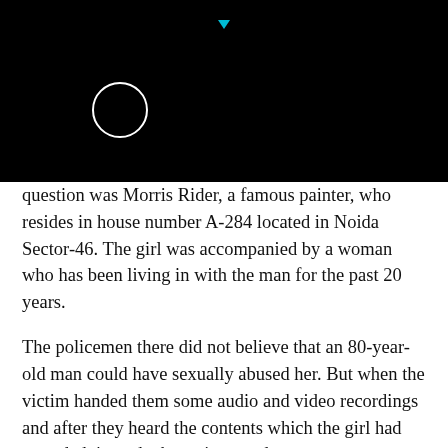[Figure (other): Black background area with a white circle outline and a small cyan downward-pointing triangle/arrow indicator at the top center]
question was Morris Rider, a famous painter, who resides in house number A-284 located in Noida Sector-46. The girl was accompanied by a woman who has been living in with the man for the past 20 years.
The policemen there did not believe that an 80-year-old man could have sexually abused her. But when the victim handed them some audio and video recordings and after they heard the contents which the girl had recorded, it made them sit up and
act, as the tapes were evidence of the abuse Morris Rider had put the girl through. The teenager told the police that she had recorded it only because she thought no one